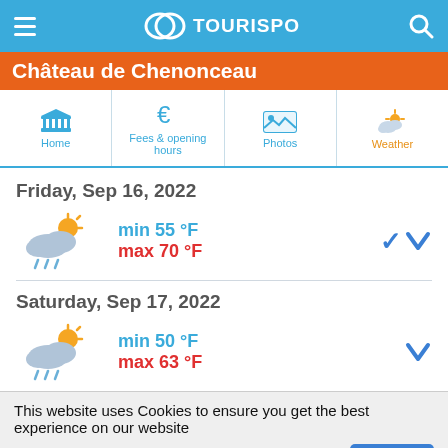TouriSpo
Château de Chenonceau
Home | Fees & opening hours | Photos | Weather
Friday, Sep 16, 2022 — min 55 °F / max 70 °F
Saturday, Sep 17, 2022 — min 50 °F / max 63 °F
This website uses Cookies to ensure you get the best experience on our website
Data Protection Regulations
I got it